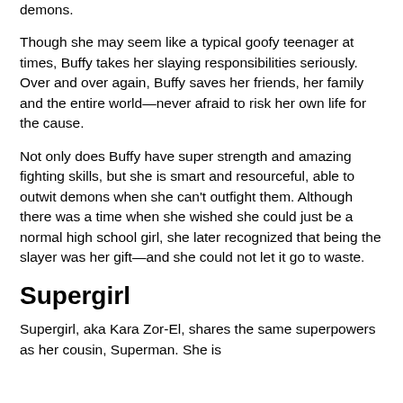demons.
Though she may seem like a typical goofy teenager at times, Buffy takes her slaying responsibilities seriously. Over and over again, Buffy saves her friends, her family and the entire world—never afraid to risk her own life for the cause.
Not only does Buffy have super strength and amazing fighting skills, but she is smart and resourceful, able to outwit demons when she can't outfight them. Although there was a time when she wished she could just be a normal high school girl, she later recognized that being the slayer was her gift—and she could not let it go to waste.
Supergirl
Supergirl, aka Kara Zor-El, shares the same superpowers as her cousin, Superman. She is